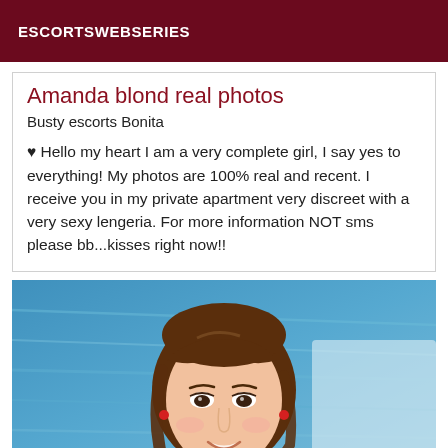ESCORTSWEBSERIES
Amanda blond real photos
Busty escorts Bonita
♥ Hello my heart I am a very complete girl, I say yes to everything! My photos are 100% real and recent. I receive you in my private apartment very discreet with a very sexy lengeria. For more information NOT sms please bb...kisses right now!!
[Figure (photo): Portrait photo of a smiling young brunette woman near a blue swimming pool, wearing a red accessory/strap, photographed from shoulders up]